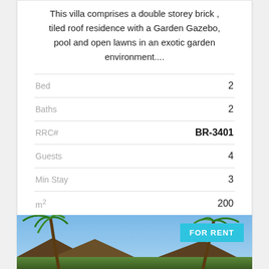This villa comprises a double storey brick , tiled roof residence with a Garden Gazebo, pool and open lawns in an exotic garden environment....
|  |  |
| --- | --- |
| Bed | 2 |
| Baths | 2 |
| RRC# | BR-3401 |
| Guests | 4 |
| Min Stay | 3 |
| m² | 200 |
| Lot Size | 550 m² |
[Figure (photo): Exterior photo of a tropical villa or resort property with palm trees visible against a blue sky, thatched/tiled roofs visible. A cyan 'FOR RENT' badge is shown in the top-right corner of the image.]